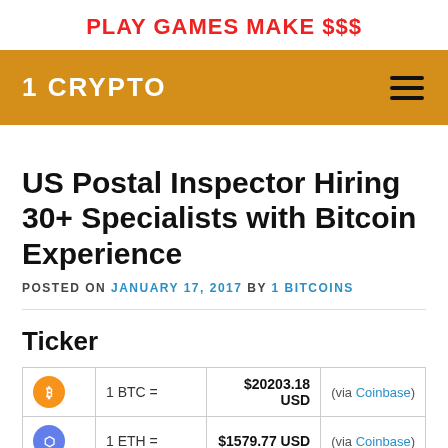PLAY GAMES MAKE $$$
1 CRYPTO
US Postal Inspector Hiring 30+ Specialists with Bitcoin Experience
POSTED ON JANUARY 17, 2017 BY 1 BITCOINS
Ticker
|  |  | Value |  |
| --- | --- | --- | --- |
| BTC | 1 BTC = | $20203.18 USD | (via Coinbase) |
| ETH | 1 ETH = | $1579.77 USD | (via Coinbase) |
| LTC |  |  |  |